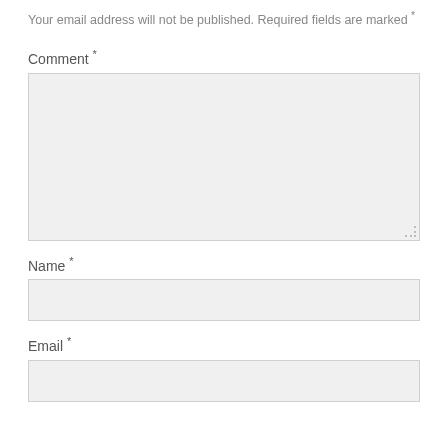Your email address will not be published. Required fields are marked *
Comment *
[Figure (other): Large comment textarea input field with resize handle at bottom right]
Name *
[Figure (other): Single-line Name text input field]
Email *
[Figure (other): Single-line Email text input field (partially visible)]